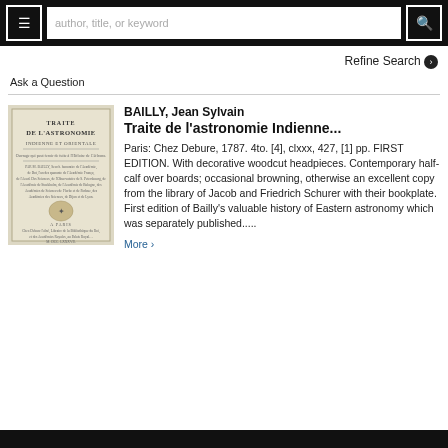author, title, or keyword | search bar | Refine Search
Ask a Question
[Figure (photo): Scanned title page of 'Traite de l'Astronomie Indienne et Orientale' showing old French typography on yellowed paper]
BAILLY, Jean Sylvain
Traite de l'astronomie Indienne...

Paris: Chez Debure, 1787. 4to. [4], clxxx, 427, [1] pp. FIRST EDITION. With decorative woodcut headpieces. Contemporary half-calf over boards; occasional browning, otherwise an excellent copy from the library of Jacob and Friedrich Schurer with their bookplate. First edition of Bailly's valuable history of Eastern astronomy which was separately published..... More >